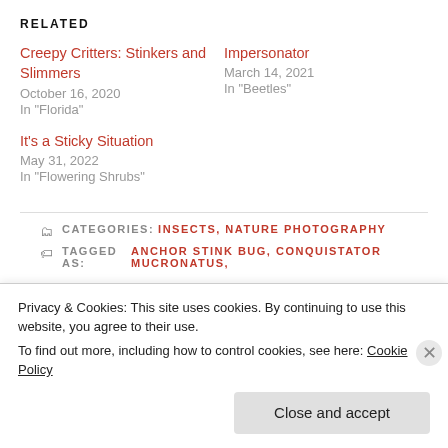RELATED
Creepy Critters: Stinkers and Slimmers
October 16, 2020
In "Florida"
Impersonator
March 14, 2021
In "Beetles"
It's a Sticky Situation
May 31, 2022
In "Flowering Shrubs"
CATEGORIES: INSECTS, NATURE PHOTOGRAPHY
TAGGED AS: ANCHOR STINK BUG, CONQUISTATOR MUCRONATUS,
Privacy & Cookies: This site uses cookies. By continuing to use this website, you agree to their use.
To find out more, including how to control cookies, see here: Cookie Policy
Close and accept